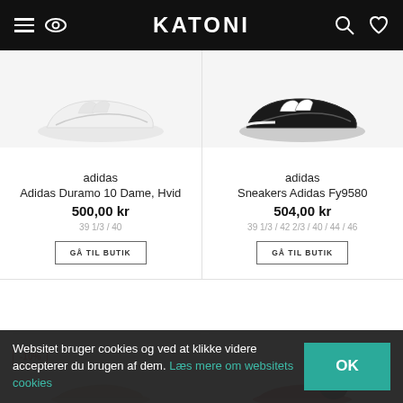KATONI
[Figure (photo): White Adidas Duramo 10 Dame sneaker on light background]
adidas
Adidas Duramo 10 Dame, Hvid
500,00 kr
39 1/3 / 40
GÅ TIL BUTIK
[Figure (photo): Black and white Adidas Fy9580 sneaker on light background]
adidas
Sneakers Adidas Fy9580
504,00 kr
39 1/3 / 42 2/3 / 40 / 44 / 46
GÅ TIL BUTIK
-10%
Websitet bruger cookies og ved at klikke videre accepterer du brugen af dem. Læs mere om websitets cookies
OK